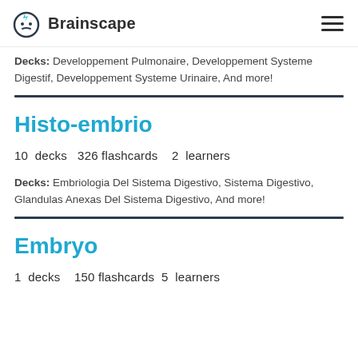Brainscape
Decks: Developpement Pulmonaire, Developpement Systeme Digestif, Developpement Systeme Urinaire, And more!
Histo-embrio
10 decks   326 flashcards   2 learners
Decks: Embriologia Del Sistema Digestivo, Sistema Digestivo, Glandulas Anexas Del Sistema Digestivo, And more!
Embryo
1 decks   150 flashcards   5 learners